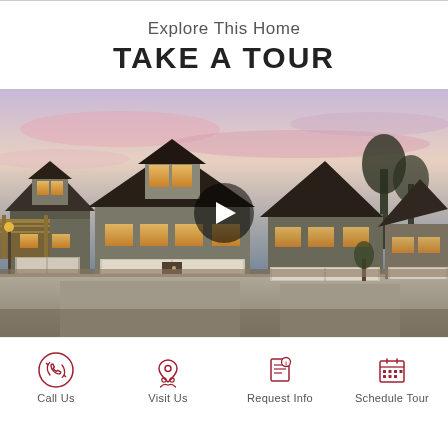Explore This Home
TAKE A TOUR
[Figure (photo): Exterior photo of row of craftsman-style townhomes at dusk with warm interior lighting, garages visible, with a video play button overlay in the center.]
Call Us
Visit Us
Request Info
Schedule Tour